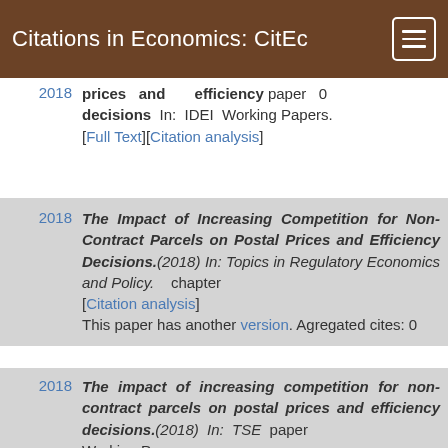Citations in Economics: CitEc
2018 | prices and efficiency decisions In: IDEI Working Papers. [Full Text][Citation analysis] | paper 0
2018 | The Impact of Increasing Competition for Non-Contract Parcels on Postal Prices and Efficiency Decisions.(2018) In: Topics in Regulatory Economics and Policy. [Citation analysis] This paper has another version. Agregated cites: 0 | chapter
2018 | The impact of increasing competition for non-contract parcels on postal prices and efficiency decisions.(2018) In: TSE Working Papers. | paper